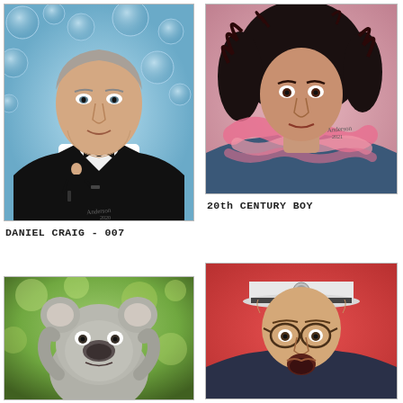[Figure (illustration): Portrait painting of Daniel Craig as James Bond 007, wearing a black tuxedo and bow tie, with a smaller action figure pose inset at chest level, blue bubble-like background, signed by artist]
DANIEL CRAIG - 007
[Figure (illustration): Portrait painting of Marc Bolan (20th Century Boy), man with large curly hair wearing a pink feather boa and blue jacket, pink/neutral background, signed by artist]
20th CENTURY BOY
[Figure (photo): Photograph of a koala bear looking up, green bokeh background]
[Figure (illustration): Portrait painting of a man wearing a white naval/captain hat with an emblem and round glasses, mouth open in surprised expression, red/pink background]